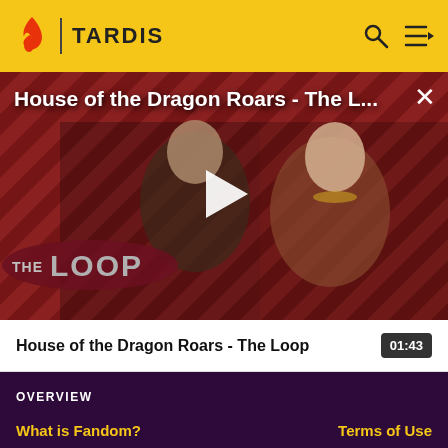TARDIS
House of the Dragon Roars - The L...
[Figure (screenshot): Video thumbnail for 'House of the Dragon Roars - The Loop' showing two characters from House of the Dragon on a striped red/dark background with 'THE LOOP' text overlay and a play button in the center]
House of the Dragon Roars - The Loop	01:43
OVERVIEW
What is Fandom?
Terms of Use